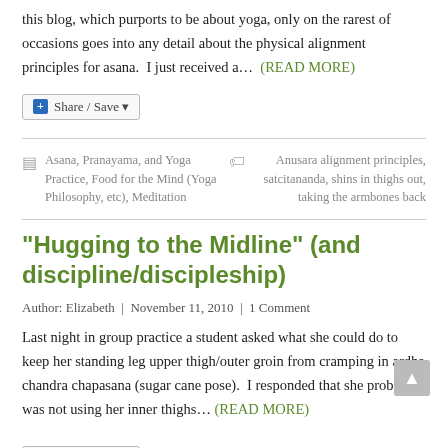this blog, which purports to be about yoga, only on the rarest of occasions goes into any detail about the physical alignment principles for asana.  I just received a… (READ MORE)
Share / Save
Asana, Pranayama, and Yoga Practice, Food for the Mind (Yoga Philosophy, etc), Meditation
Anusara alignment principles, satcitananda, shins in thighs out, taking the armbones back
“Hugging to the Midline” (and discipline/discipleship)
Author: Elizabeth  |  November 11, 2010  |  1 Comment
Last night in group practice a student asked what she could do to keep her standing leg upper thigh/outer groin from cramping in ardha chandra chapasana (sugar cane pose).  I responded that she probably was not using her inner thighs… (READ MORE)
Share / Save